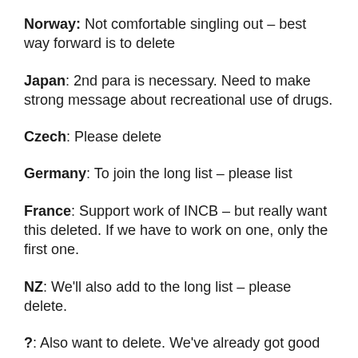Norway: Not comfortable singling out – best way forward is to delete
Japan: 2nd para is necessary. Need to make strong message about recreational use of drugs.
Czech: Please delete
Germany: To join the long list – please list
France: Support work of INCB – but really want this deleted. If we have to work on one, only the first one.
NZ: We'll also add to the long list – please delete.
?: Also want to delete. We've already got good